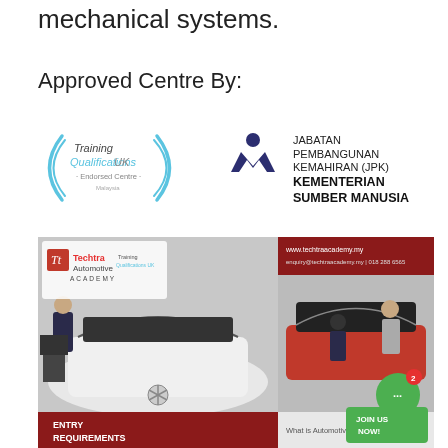mechanical systems.
Approved Centre By:
[Figure (logo): Training Qualifications UK Endorsed Centre Malaysia logo — circular arc design with text]
[Figure (logo): Jabatan Pembangunan Kemahiran (JPK) Kementerian Sumber Manusia logo — dark blue M-shape figure icon with text]
[Figure (photo): Techtra Automotive Academy promotional banner showing two photos of mechanics working on luxury cars (Mercedes and Ferrari) with entry requirements text and website details]